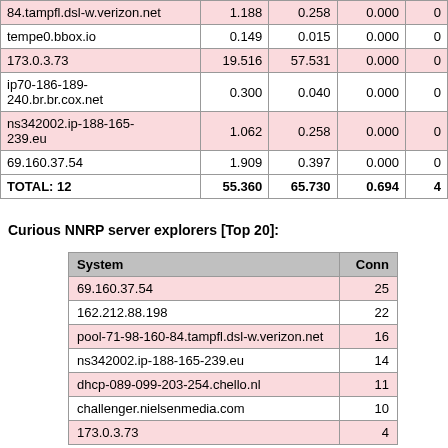| Host | col2 | col3 | 0.000 | 0 |
| --- | --- | --- | --- | --- |
| 84.tampfl.dsl-w.verizon.net | 1.188 | 0.258 | 0.000 | 0 |
| tempe0.bbox.io | 0.149 | 0.015 | 0.000 | 0 |
| 173.0.3.73 | 19.516 | 57.531 | 0.000 | 0 |
| ip70-186-189-240.br.br.cox.net | 0.300 | 0.040 | 0.000 | 0 |
| ns342002.ip-188-165-239.eu | 1.062 | 0.258 | 0.000 | 0 |
| 69.160.37.54 | 1.909 | 0.397 | 0.000 | 0 |
| TOTAL: 12 | 55.360 | 65.730 | 0.694 | 4 |
Curious NNRP server explorers [Top 20]:
| System | Conn |
| --- | --- |
| 69.160.37.54 | 25 |
| 162.212.88.198 | 22 |
| pool-71-98-160-84.tampfl.dsl-w.verizon.net | 16 |
| ns342002.ip-188-165-239.eu | 14 |
| dhcp-089-099-203-254.chello.nl | 11 |
| challenger.nielsenmedia.com | 10 |
| 173.0.3.73 | 4 |